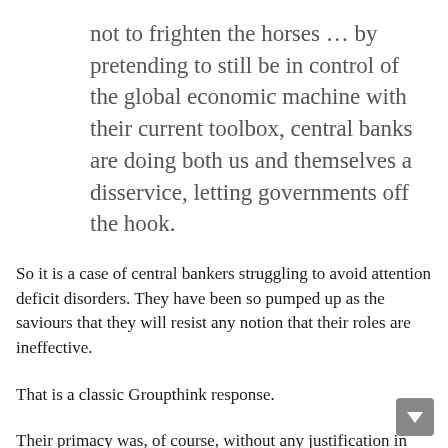not to frighten the horses … by pretending to still be in control of the global economic machine with their current toolbox, central banks are doing both us and themselves a disservice, letting governments off the hook.
So it is a case of central bankers struggling to avoid attention deficit disorders. They have been so pumped up as the saviours that they will resist any notion that their roles are ineffective.
That is a classic Groupthink response.
Their primacy was, of course, without any justification in fact. It reflected the ideological need by neo-liberal elites to reduce the policy discretion of elected governments and provide a more stable environment for capital to extract ever larger